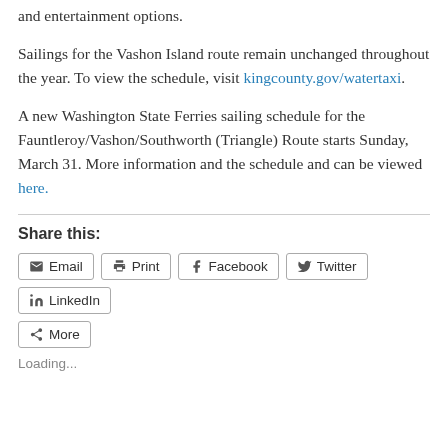and entertainment options.
Sailings for the Vashon Island route remain unchanged throughout the year. To view the schedule, visit kingcounty.gov/watertaxi.
A new Washington State Ferries sailing schedule for the Fauntleroy/Vashon/Southworth (Triangle) Route starts Sunday, March 31. More information and the schedule and can be viewed here.
Share this:
Email  Print  Facebook  Twitter  LinkedIn
More
Loading...